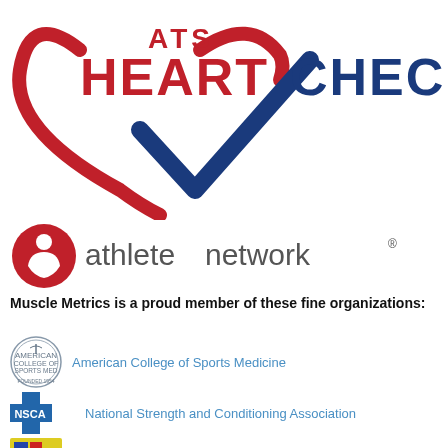[Figure (logo): ATS Heart Check logo with red heart outline and blue checkmark, text reading ATS HEART CHECK]
[Figure (logo): Athlete Network logo with red circular icon and grey/dark text reading athletenetwork with registered trademark symbol]
Muscle Metrics is a proud member of these fine organizations:
[Figure (logo): American College of Sports Medicine circular seal logo]
American College of Sports Medicine
[Figure (logo): NSCA logo with blue cross and text NSCA]
National Strength and Conditioning Association